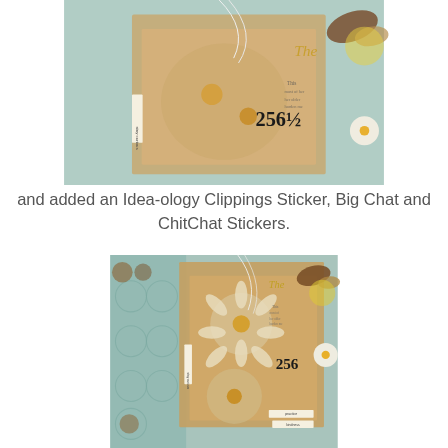[Figure (photo): Close-up craft/scrapbooking photo showing layered paper tags with floral and butterfly embellishments, stamps with number 256½, and text 'stay curious' on a small label strip.]
and added an Idea-ology Clippings Sticker, Big Chat and ChitChat Stickers.
[Figure (photo): Closer view of craft/scrapbooking artwork showing layered vintage-style tags with daisy flowers, butterfly, text '256', labels reading 'stay curious', 'practice kindness' on a mixed-media background with teal and brown tones.]